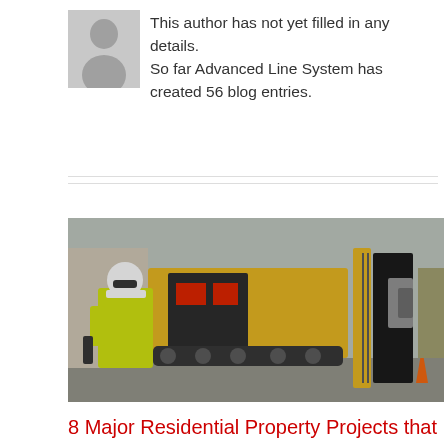[Figure (illustration): Gray placeholder avatar icon (silhouette of a person) on a gray background square]
This author has not yet filled in any details.
So far Advanced Line System has created 56 blog entries.
[Figure (photo): A worker in a yellow high-visibility jacket and white hard hat standing next to a large yellow and black horizontal directional drilling machine with tracks, drill rods, and hydraulic components. Snowy/muddy job site. An orange traffic cone is visible on the right side.]
8 Major Residential Property Projects that